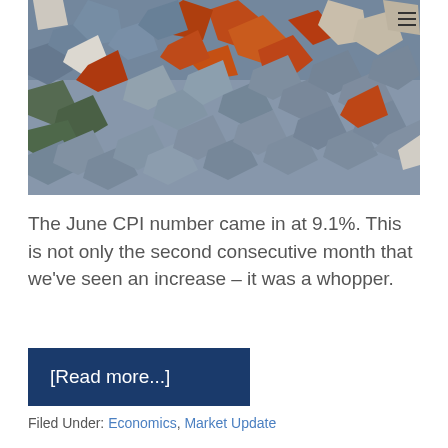[Figure (photo): Overhead view of a large pile of colorful scattered jigsaw puzzle pieces in various colors including orange, blue, grey, and brown.]
The June CPI number came in at 9.1%. This is not only the second consecutive month that we've seen an increase – it was a whopper.
[Read more...]
Filed Under: Economics, Market Update